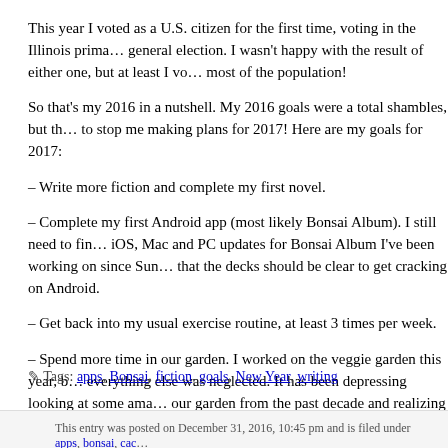This year I voted as a U.S. citizen for the first time, voting in the Illinois primary and general election. I wasn't happy with the result of either one, but at least I voted like most of the population!
So that's my 2016 in a nutshell. My 2016 goals were a total shambles, but that's not going to stop me making plans for 2017! Here are my goals for 2017:
– Write more fiction and complete my first novel.
– Complete my first Android app (most likely Bonsai Album). I still need to finish the iOS, Mac and PC updates for Bonsai Album I've been working on since Summer, but after that the decks should be clear to get cracking on Android.
– Get back into my usual exercise routine, at least 3 times per week.
– Spend more time in our garden. I worked on the veggie garden this year, but everything else was neglected. It has been depressing looking at some amazing photos of our garden from the past decade and realizing it hasn't looked that great in recent years.
I hope everyone had a decent year, and I wish you well as we head into 2017. Happy New Year!
Tags: apps, Bonsai, fiction, goals, New Year, writing
This entry was posted on December 31, 2016, 10:45 pm and is filed under apps, bonsai, cac...